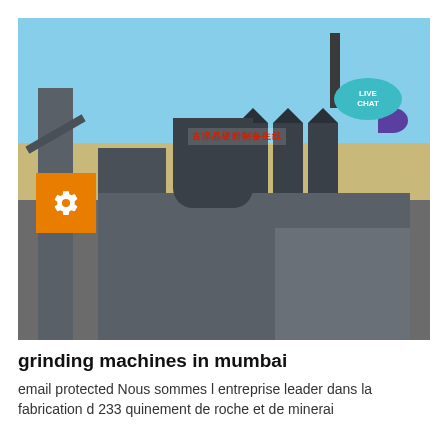[Figure (photo): Aerial view of an industrial grinding/milling plant facility with large grey buildings, silos, tall tower structure, conveyor equipment, and a chimney against a blue sky. Red Chinese text sign visible on the building. A circular LIVE CHAT button with teal background and speech bubble is overlaid on the top right of the image. An orange settings/gear icon box is overlaid on the left side.]
grinding machines in mumbai
email protected Nous sommes l entreprise leader dans la fabrication d 233 quinement de roche et de minerai